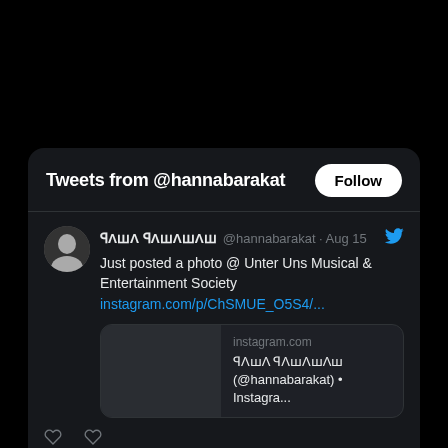Tweets from @hannabarakat
ꟼΛꟺΛ ꟼΛꟺΛꟼΛꟺ @hannabarakat · Aug 15
Just posted a photo @ Unter Uns Musical & Entertainment Society
instagram.com/p/ChSMUE_O5S4/...
[Figure (screenshot): Instagram link preview showing instagram.com domain, ꟼΛꟺΛ ꟼΛꟺΛꟺΛꟺ (@hannabarakat) • Instagra...]
ꟼΛꟺΛ ꟼΛꟺΛꟺΛꟺ @hannabarakat · Aug 1...